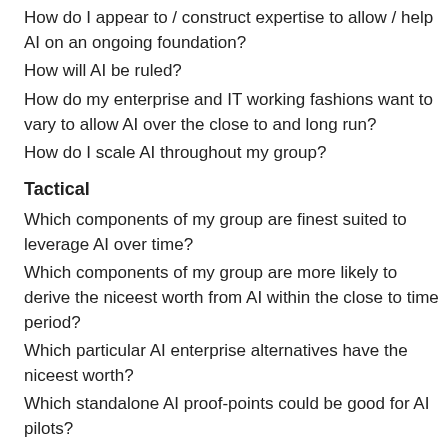How do I appear to / construct expertise to allow / help AI on an ongoing foundation?
How will AI be ruled?
How do my enterprise and IT working fashions want to vary to allow AI over the close to and long run?
How do I scale AI throughout my group?
Tactical
Which components of my group are finest suited to leverage AI over time?
Which components of my group are more likely to derive the niceest worth from AI within the close to time period?
Which particular AI enterprise alternatives have the niceest worth?
Which standalone AI proof-points could be good for AI pilots?